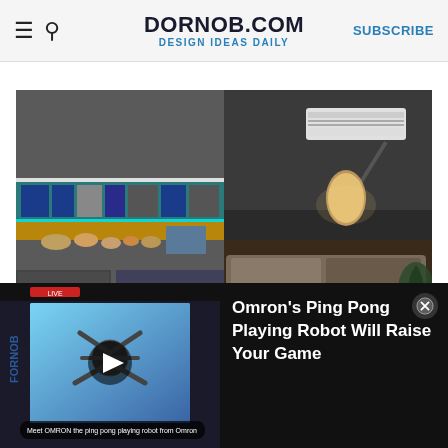DORNOB.COM — DESIGN IDEAS DAILY — SUBSCRIBE
[Figure (photo): Interior room photo split into two panels: left side shows a playroom with teal shelving filled with collectibles/toys and a wooden countertop; right side shows a dark bedroom with a bed, lamp, and wall-mounted air conditioner unit.]
[Figure (screenshot): Video thumbnail showing a robotic ping pong playing machine (Omron robot) at a demonstration event, with a play button overlay and subtitle text at the bottom.]
Omron's Ping Pong Playing Robot Will Raise Your Game